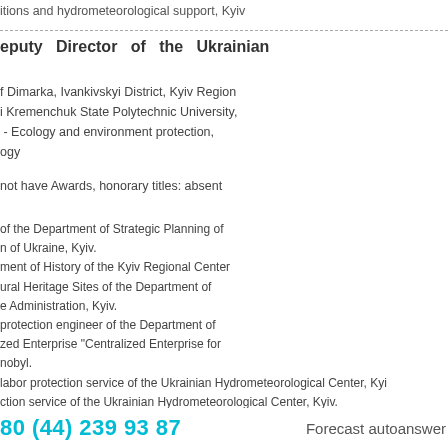itions and hydrometeorological support, Kyiv
eputy  Director  of  the  Ukrainian
f Dimarka, Ivankivskyi District, Kyiv Region
i Kremenchuk State Polytechnic University,
 - Ecology and environment protection,
ogy
not have Awards, honorary titles: absent
of the Department of Strategic Planning of
n of Ukraine, Kyiv.
ment of History of the Kyiv Regional Center
ural Heritage Sites of the Department of
e Administration, Kyiv.
protection engineer of the Department of
zed Enterprise "Centralized Enterprise for
nobyl.
labor protection service of the Ukrainian Hydrometeorological Center, Kyi
ction service of the Ukrainian Hydrometeorological Center, Kyiv.
outy Director of the Ukrainian Hydrometeorological Center, Kyiv.
80 (44) 239 93 87    Forecast autoanswer